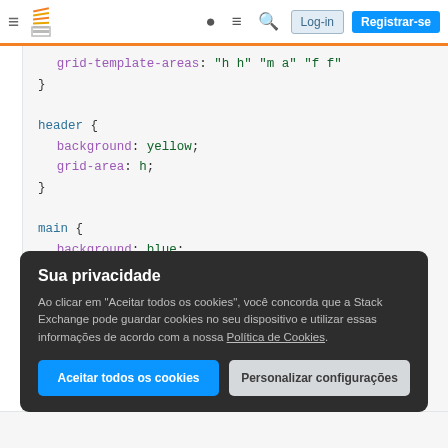[Figure (screenshot): Stack Overflow / Stack Exchange navigation bar with hamburger menu, logo, help icon, chat icon, search icon, Log-in button, and Registrar-se button]
grid-template-areas: "h h" "m a" "f f"
}

header {
    background: yellow;
    grid-area: h;
}

main {
    background: blue;
    grid-area: m;
}

aside {
Sua privacidade
Ao clicar em "Aceitar todos os cookies", você concorda que a Stack Exchange pode guardar cookies no seu dispositivo e utilizar essas informações de acordo com a nossa Política de Cookies.
Aceitar todos os cookies
Personalizar configurações